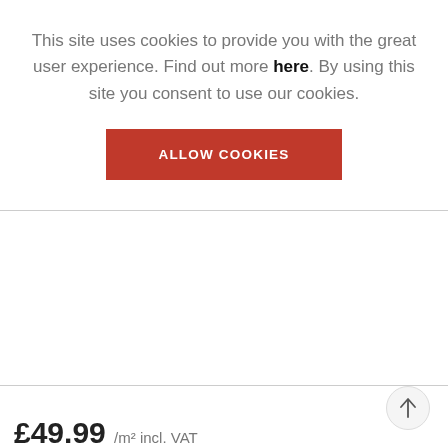This site uses cookies to provide you with the great user experience. Find out more here. By using this site you consent to use our cookies.
[Figure (other): Red 'ALLOW COOKIES' button]
£49.99 /m² incl. VAT